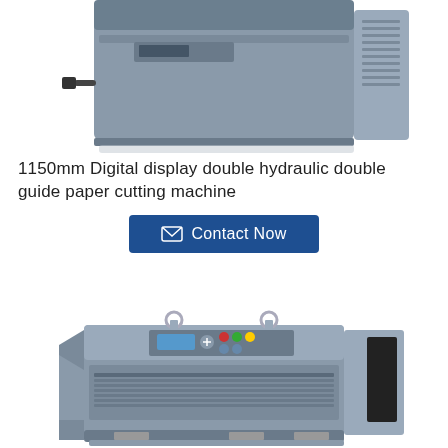[Figure (photo): Top portion of a grey industrial paper cutting machine, showing the body and control panel area, partially cropped at top]
1150mm Digital display double hydraulic double guide paper cutting machine
[Figure (other): Contact Now button with envelope icon, dark blue background, white text]
[Figure (photo): Second grey industrial paper cutting machine shown at an angle, with lifting rings on top, control panel with display and buttons, and paper feed area]